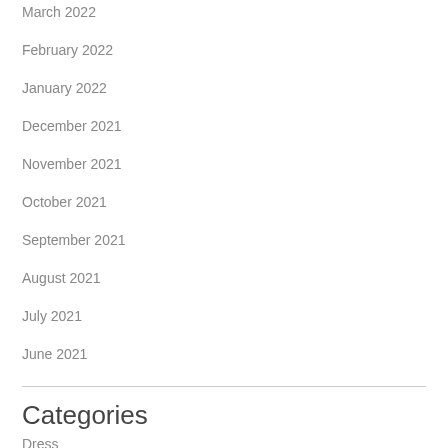March 2022
February 2022
January 2022
December 2021
November 2021
October 2021
September 2021
August 2021
July 2021
June 2021
Categories
Dress